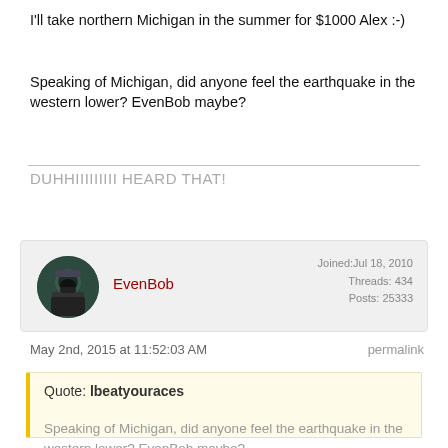I'll take northern Michigan in the summer for $1000 Alex :-)
Speaking of Michigan, did anyone feel the earthquake in the western lower? EvenBob maybe?
DUHHIIIIIIIII HEARD THAT!
EvenBob
Joined: Jul 18, 2010
Threads: 434
Posts: 25333
May 2nd, 2015 at 11:52:03 AM
permalink
Quote: lbeatyouraces
Speaking of Michigan, did anyone feel the earthquake in the western lower? EvenBob maybe?